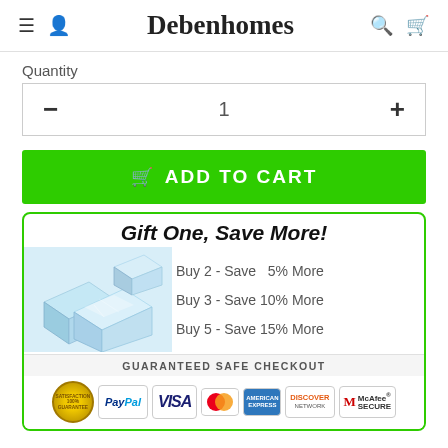Debenhomes
Quantity
— 1 +
ADD TO CART
Gift One, Save More!
[Figure (photo): Ice cubes image]
Buy 2 - Save  5% More
Buy 3 - Save 10% More
Buy 5 - Save 15% More
GUARANTEED SAFE CHECKOUT
[Figure (infographic): Payment badges: 100% Satisfaction Guarantee seal, PayPal, VISA, MasterCard, American Express, Discover Network, McAfee SECURE]